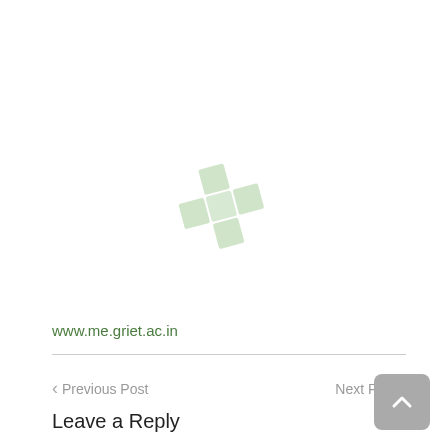[Figure (logo): Light green plus/cross shaped logo made of 5 square blocks arranged in a cross pattern, rotated slightly, on white background]
www.me.griet.ac.in
< Previous Post
Next Post >
Leave a Reply